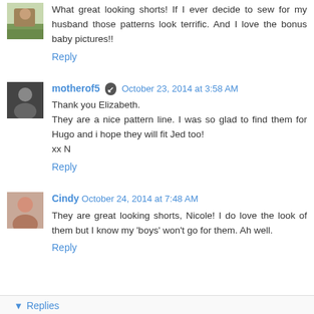[Figure (photo): Small avatar thumbnail of a person outdoors]
What great looking shorts! If I ever decide to sew for my husband those patterns look terrific. And I love the bonus baby pictures!!
Reply
[Figure (photo): Small black and white avatar photo]
motherof5 October 23, 2014 at 3:58 AM
Thank you Elizabeth.
They are a nice pattern line. I was so glad to find them for Hugo and i hope they will fit Jed too!
xx N
Reply
[Figure (photo): Small avatar photo of a woman]
Cindy October 24, 2014 at 7:48 AM
They are great looking shorts, Nicole! I do love the look of them but I know my 'boys' won't go for them. Ah well.
Reply
Replies